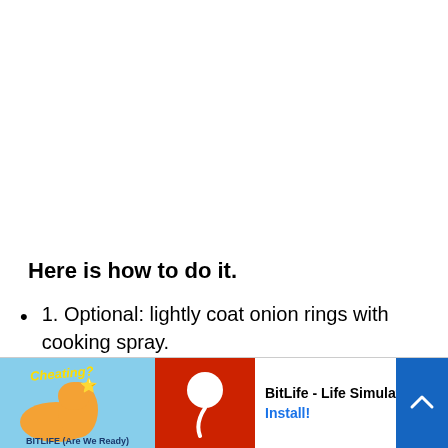Here is how to do it.
1. Optional: lightly coat onion rings with cooking spray.
2. Place them in the air fryer basket in a sing
[Figure (screenshot): Advertisement banner for BitLife - Life Simulator app, showing 'Ad' label, an illustration with 'Cheating?' text and a muscle emoji, a red BitLife logo, app name 'BitLife - Life Simulator', and an 'Install!' button, with a blue scroll-to-top button on the right.]